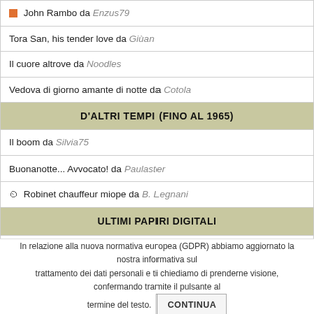| ■ John Rambo da Enzus79 |
| Tora San, his tender love da Giùan |
| Il cuore altrove da Noodles |
| Vedova di giorno amante di notte da Cotola |
| D'ALTRI TEMPI (FINO AL 1965) |
| Il boom da Silvia75 |
| Buonanotte... Avvocato! da Paulaster |
| ⏱ Robinet chauffeur miope da B. Legnani |
| ULTIMI PAPIRI DIGITALI |
| Swim da Marcel M.J. Davinotti jr. |
| Bullet train da Marcel M.J. Davinotti jr. |
In relazione alla nuova normativa europea (GDPR) abbiamo aggiornato la nostra informativa sul trattamento dei dati personali e ti chiediamo di prenderne visione, confermando tramite il pulsante al termine del testo. CONTINUA